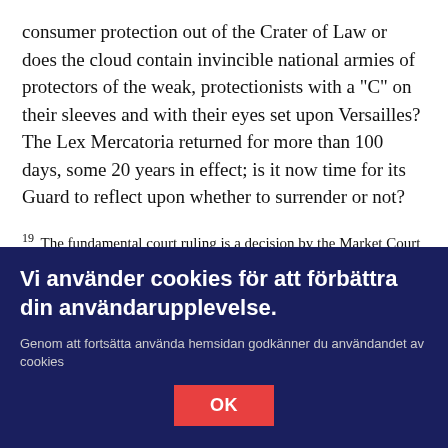consumer protection out of the Crater of Law or does the cloud contain invincible national armies of protectors of the weak, protectionists with a "C" on their sleeves and with their eyes set upon Versailles? The Lex Mercatoria returned for more than 100 days, some 20 years in effect; is it now time for its Guard to reflect upon whether to surrender or not?
19 The fundamental court ruling is a decision by the Market Court in the case Consumer Ombudsman v. AB Skånska Cementgjuteriet, 1979 no. 17.
Vi använder cookies för att förbättra din användarupplevelse.
Genom att fortsätta använda hemsidan godkänner du användandet av cookies